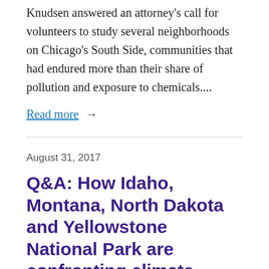Knudsen answered an attorney's call for volunteers to study several neighborhoods on Chicago's South Side, communities that had endured more than their share of pollution and exposure to chemicals....
Read more →
August 31, 2017
Q&A: How Idaho, Montana, North Dakota and Yellowstone National Park are confronting climate change